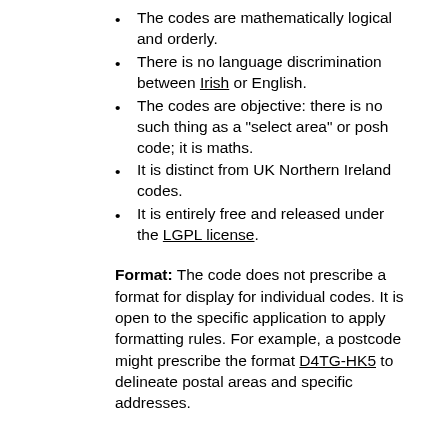The codes are mathematically logical and orderly.
There is no language discrimination between Irish or English.
The codes are objective: there is no such thing as a "select area" or posh code; it is maths.
It is distinct from UK Northern Ireland codes.
It is entirely free and released under the LGPL license.
Format: The code does not prescribe a format for display for individual codes. It is open to the specific application to apply formatting rules. For example, a postcode might prescribe the format D4TG-HK5 to delineate postal areas and specific addresses.